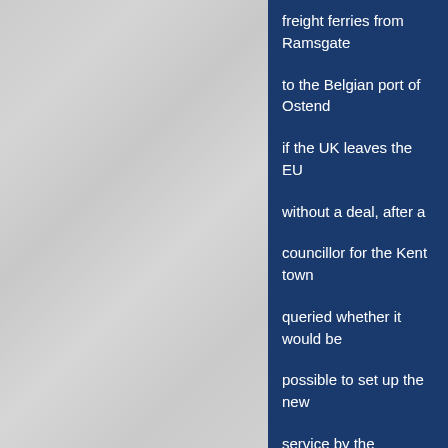[Figure (photo): Light grey textured background occupying the left portion of the page]
freight ferries from Ramsgate to the Belgian port of Ostend if the UK leaves the EU without a deal, after a councillor for the Kent town queried whether it would be possible to set up the new service by the scheduled Brexit date. There are grounds for looking closely into this company and who benefits from its profits. It would not surprise us if Prime Minister Theresa May and Chancellor Phil (spreadsheet) Hammond are among the main